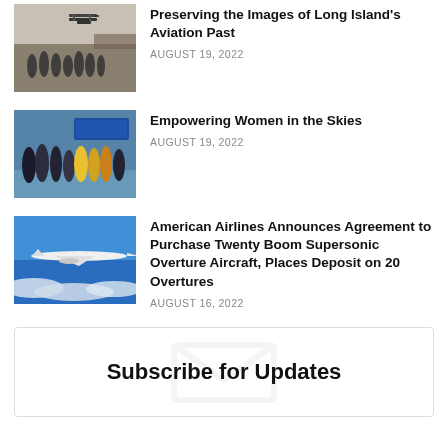[Figure (photo): Black and white historical photo showing a biplane at top and a group of people standing on an airfield below]
Preserving the Images of Long Island's Aviation Past
AUGUST 19, 2022
[Figure (photo): Color photo of a group of people in an airport terminal, some wearing high-visibility vests, with a blue sign in background]
Empowering Women in the Skies
AUGUST 19, 2022
[Figure (photo): Color photo of a sleek white supersonic aircraft flying above clouds against a blue sky]
American Airlines Announces Agreement to Purchase Twenty Boom Supersonic Overture Aircraft, Places Deposit on 20 Overtures
AUGUST 16, 2022
Subscribe for Updates